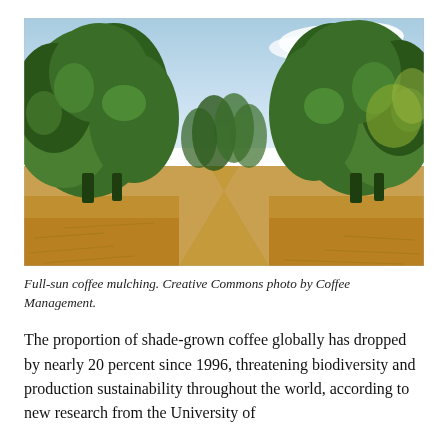[Figure (photo): Rows of full-sun coffee plants with green foliage on either side of a dirt path covered in dry mulch/straw, under a blue sky with light clouds.]
Full-sun coffee mulching. Creative Commons photo by Coffee Management.
The proportion of shade-grown coffee globally has dropped by nearly 20 percent since 1996, threatening biodiversity and production sustainability throughout the world, according to new research from the University of